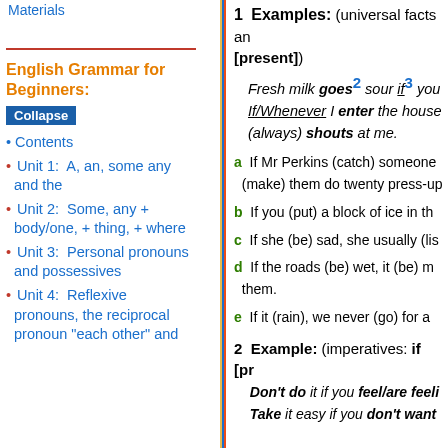Materials
English Grammar for Beginners:
Collapse
• Contents
• Unit 1:  A, an, some any and the
• Unit 2:  Some, any + body/one, + thing, + where
• Unit 3:  Personal pronouns and possessives
• Unit 4:  Reflexive pronouns, the reciprocal pronoun "each other" and
1  Examples: (universal facts and habits) [if + present]
Fresh milk goes2 sour if3 you...  If/Whenever I enter the house... (always) shouts at me.
a  If Mr Perkins (catch) someone... (make) them do twenty press-ups
b  If you (put) a block of ice in th...
c  If she (be) sad, she usually (li...
d  If the roads (be) wet, it (be) m... them.
e  If it (rain), we never (go) for a...
2  Example: (imperatives: if [pr...
Don't do it if you feel/are feeli...  Take it easy if you don't want...